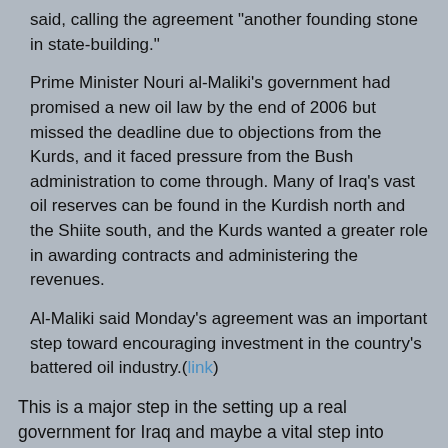said, calling the agreement "another founding stone in state-building."
Prime Minister Nouri al-Maliki's government had promised a new oil law by the end of 2006 but missed the deadline due to objections from the Kurds, and it faced pressure from the Bush administration to come through. Many of Iraq's vast oil reserves can be found in the Kurdish north and the Shiite south, and the Kurds wanted a greater role in awarding contracts and administering the revenues.
Al-Maliki said Monday's agreement was an important step toward encouraging investment in the country's battered oil industry.(link)
This is a major step in the setting up a real government for Iraq and maybe a vital step into returning the U.S. military home (without the 'honor' of a Democrat retreat).
Reason to hope
Filed: Iraq, oil, democracy, U.S., LordNazh